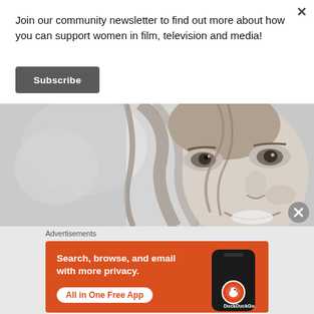Join our community newsletter to find out more about how you can support women in film, television and media!
Subscribe
[Figure (photo): Black and white close-up photo of a smiling young woman with hair blowing across her face, outdoors.]
Advertisements
[Figure (screenshot): DuckDuckGo advertisement banner with orange background. Text reads: 'Search, browse, and email with more privacy. All in One Free App' with DuckDuckGo logo and phone mockup.]